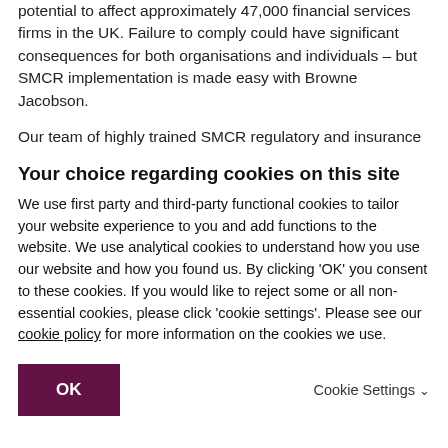potential to affect approximately 47,000 financial services firms in the UK. Failure to comply could have significant consequences for both organisations and individuals – but SMCR implementation is made easy with Browne Jacobson.
Our team of highly trained SMCR regulatory and insurance lawyers have developed a comprehensive matrix of services to help FCA-regulated firms abide by SMCR.
Your choice regarding cookies on this site
We use first party and third-party functional cookies to tailor your website experience to you and add functions to the website. We use analytical cookies to understand how you use our website and how you found us. By clicking 'OK' you consent to these cookies. If you would like to reject some or all non-essential cookies, please click 'cookie settings'. Please see our cookie policy for more information on the cookies we use.